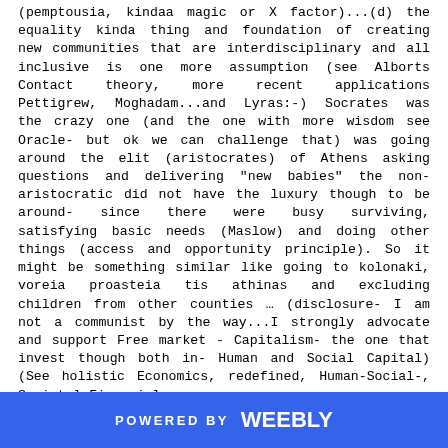(pemptousia, kindaa magic or X factor)...(d) the equality kinda thing and foundation of creating new communities that are interdisciplinary and all inclusive is one more assumption (see Alborts Contact theory, more recent applications Pettigrew, Moghadam...and Lyras:-) Socrates was the crazy one (and the one with more wisdom see Oracle- but ok we can challenge that) was going around the elit (aristocrates) of Athens asking questions and delivering "new babies" the non-aristocratic did not have the luxury though to be around- since there were busy surviving, satisfying basic needs (Maslow) and doing other things (access and opportunity principle). So it might be something similar like going to kolonaki, voreia proasteia tis athinas and excluding children from other counties ... (disclosure- I am not a communist by the way...I strongly advocate and support Free market - Capitalism- the one that invest though both in- Human and Social Capital) (See holistic Economics, redefined, Human-Social-, Societal-Financial-
POWERED BY weebly